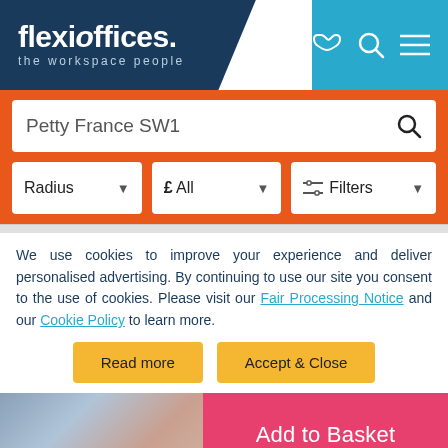[Figure (screenshot): Flexioffices website header with navy logo area reading 'flexioffices. the workspace people' and light blue area with phone, search, and menu icons]
[Figure (screenshot): Orange search bar area with white search input showing 'Petty France SW1', and three filter dropdowns: Radius, £ All, and Filters]
We use cookies to improve your experience and deliver personalised advertising. By continuing to use our site you consent to the use of cookies. Please visit our Fair Processing Notice and our Cookie Policy to learn more.
Read more
Accept & Close
[Figure (photo): Partial photo of an outdoor area with an 'Add to Basket' pink button overlay on the right side]